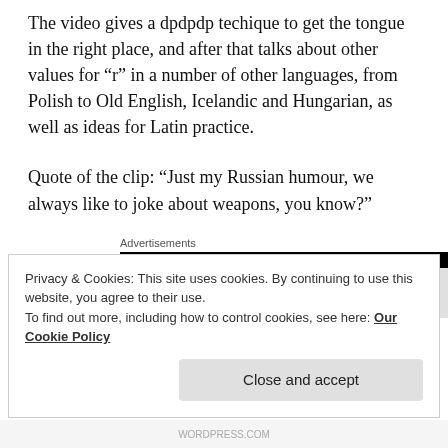The video gives a dpdpdp techique to get the tongue in the right place, and after that talks about other values for “r” in a number of other languages, from Polish to Old English, Icelandic and Hungarian, as well as ideas for Latin practice.
Quote of the clip: “Just my Russian humour, we always like to joke about weapons, you know?”
[Figure (other): Advertisements section with a black banner/ad bar]
Privacy & Cookies: This site uses cookies. By continuing to use this website, you agree to their use.
To find out more, including how to control cookies, see here: Our Cookie Policy